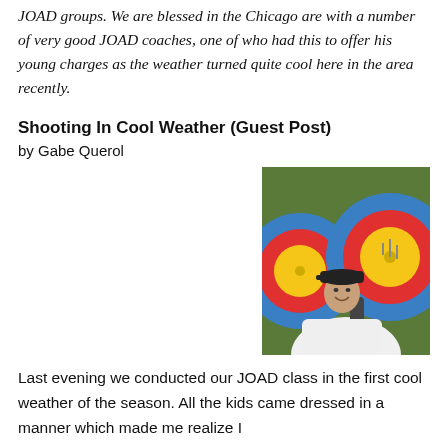JOAD groups. We are blessed in the Chicago are with a number of very good JOAD coaches, one of who had this to offer his young charges as the weather turned quite cool here in the area recently.
Shooting In Cool Weather (Guest Post)
by Gabe Querol
[Figure (photo): A man wearing a white t-shirt and black cap smiles at the camera, standing in front of large archery target faces (blue, red, and yellow/gold concentric circles).]
Last evening we conducted our JOAD class in the first cool weather of the season. All the kids came dressed in a manner which made me realize I